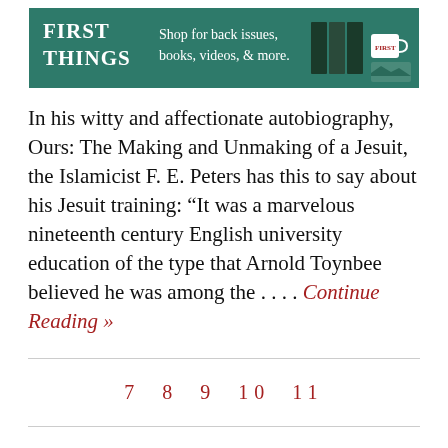[Figure (other): First Things advertisement banner: green background with white 'FIRST THINGS' logo text, 'Shop for back issues, books, videos, & more.' text, and images of books and a mug on the right.]
In his witty and affectionate autobiography, Ours: The Making and Unmaking of a Jesuit, the Islamicist F. E. Peters has this to say about his Jesuit training: “It was a marvelous nineteenth century English university education of the type that Arnold Toynbee believed he was among the . . . . Continue Reading »
7  8  9  10  11
AMERICA’S MOST INFLUENTIAL